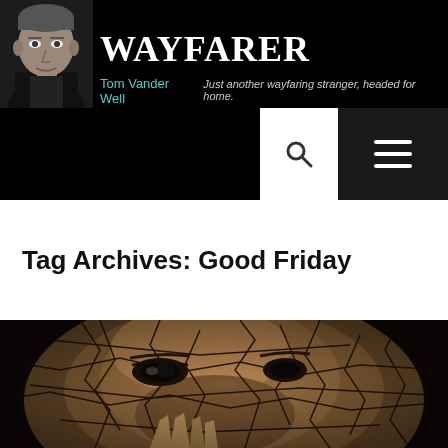wayfarer — Tom Vander Well — Just another wayfaring stranger, headed for home.
Tag Archives: Good Friday
[Figure (photo): A dark, cracked-earth textured artwork showing a face with expressive eyes, partially obscured by a hand, evoking suffering or grief. Warm brown tones with dramatic dark cracks throughout.]